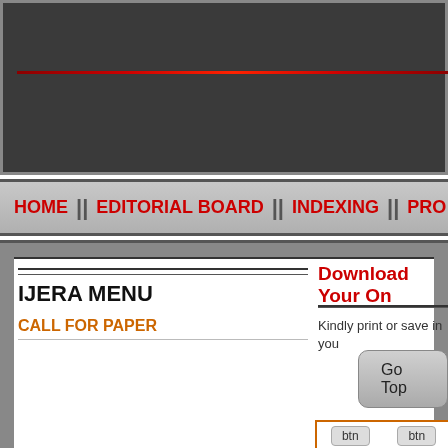[Figure (screenshot): Dark gray header banner of IJERA journal website with a red horizontal line]
HOME || EDITORIAL BOARD || INDEXING || PRO
Download Your On
Kindly print or save in you
IJERA MENU
CALL FOR PAPER